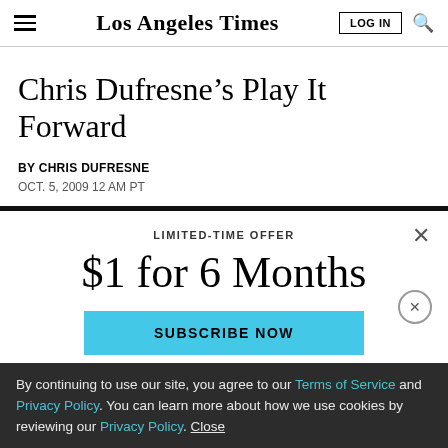Los Angeles Times
Chris Dufresne's Play It Forward
BY CHRIS DUFRESNE
OCT. 5, 2009 12 AM PT
LIMITED-TIME OFFER
$1 for 6 Months
SUBSCRIBE NOW
By continuing to use our site, you agree to our Terms of Service and Privacy Policy. You can learn more about how we use cookies by reviewing our Privacy Policy. Close